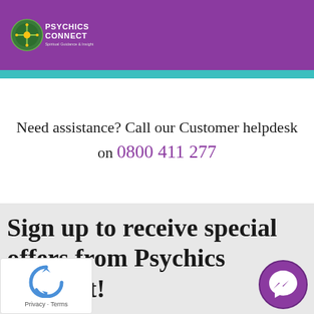Psychics Connect - Spiritual Guidance & Insight
Need assistance? Call our Customer helpdesk on 0800 411 277
Sign up to receive special offers from Psychics Connect!
[Figure (logo): reCAPTCHA badge with Privacy and Terms links]
[Figure (illustration): Facebook Messenger chat button icon, purple circle]